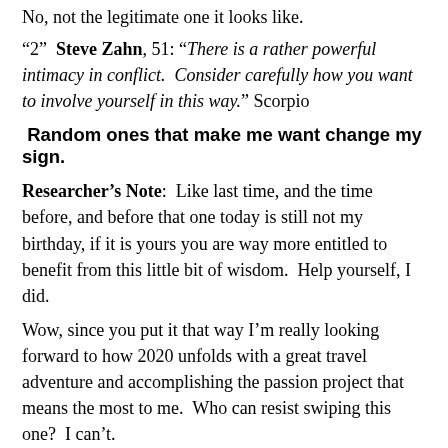No, not the legitimate one it looks like.
“2”  Steve Zahn, 51: “There is a rather powerful intimacy in conflict.  Consider carefully how you want to involve yourself in this way.” Scorpio
Random ones that make me want change my sign.
Researcher’s Note:  Like last time, and the time before, and before that one today is still not my birthday, if it is yours you are way more entitled to benefit from this little bit of wisdom.  Help yourself, I did.
Wow, since you put it that way I’m really looking forward to how 2020 unfolds with a great travel adventure and accomplishing the passion project that means the most to me.  Who can resist swiping this one?  I can’t.
Today’s Holiday Birthday: